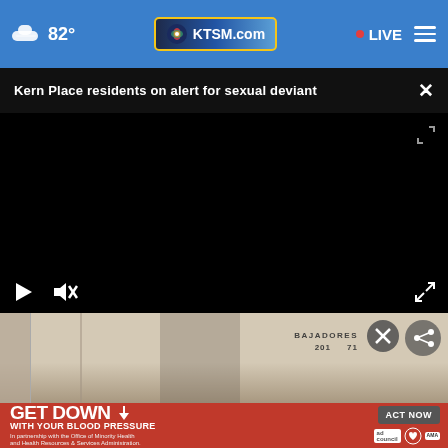82° KTSM.com • LIVE
Kern Place residents on alert for sexual deviant ×
[Figure (screenshot): Black video player area with play button, mute button, and fullscreen button controls at the bottom. Below the player is a partially visible thumbnail showing a person in front of a building with text 'BAJADORES 201...' visible.]
[Figure (photo): Partial photo of a person standing in front of a building with Spanish text visible: 'BAJADORES 201' and other partially visible text. A circular close button and share button are visible.]
GET DOWN WITH YOUR BLOOD PRESSURE In partnership with the Office of Minority Health and Health Resources & Services Administration. ACT NOW